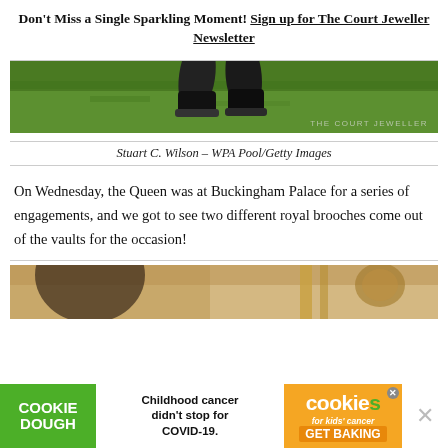Don't Miss a Single Sparkling Moment! Sign up for The Court Jeweller Newsletter
[Figure (photo): Close-up of a person's feet and lower legs in dark shoes standing on green grass, with 'THE COURT JEWELLER' watermark in the bottom right corner]
Stuart C. Wilson – WPA Pool/Getty Images
On Wednesday, the Queen was at Buckingham Palace for a series of engagements, and we got to see two different royal brooches come out of the vaults for the occasion!
[Figure (photo): Bottom portion of a photo showing an interior scene, partially obscured by an advertisement banner]
[Figure (screenshot): Advertisement banner: COOKIE DOUGH (green left panel), 'Childhood cancer didn't stop for COVID-19.' (white middle panel), cookies for kids cancer GET BAKING (orange right panel)]